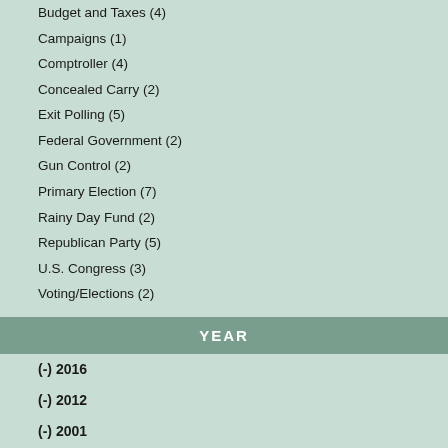Budget and Taxes (4)
Campaigns (1)
Comptroller (4)
Concealed Carry (2)
Exit Polling (5)
Federal Government (2)
Gun Control (2)
Primary Election (7)
Rainy Day Fund (2)
Republican Party (5)
U.S. Congress (3)
Voting/Elections (2)
YEAR
(-) 2016
(-) 2012
(-) 2001
(-) 1988
(-) 1982